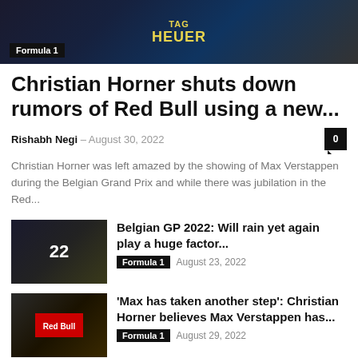[Figure (photo): Formula 1 racing photo with TAG Heuer and Oracle Red Bull branding visible]
Formula 1
Christian Horner shuts down rumors of Red Bull using a new...
Rishabh Negi – August 30, 2022
Christian Horner was left amazed by the showing of Max Verstappen during the Belgian Grand Prix and while there was jubilation in the Red...
[Figure (photo): Belgian GP 2022 racing car photo with number 22]
Belgian GP 2022: Will rain yet again play a huge factor...
Formula 1   August 23, 2022
[Figure (photo): Christian Horner and Max Verstappen celebrating, Red Bull Honda branding]
'Max has taken another step': Christian Horner believes Max Verstappen has...
Formula 1   August 29, 2022
[Figure (photo): Ons Jabeur photo]
"You've got to stay humble" Ons Jabeur contemplates life after Wimbledon